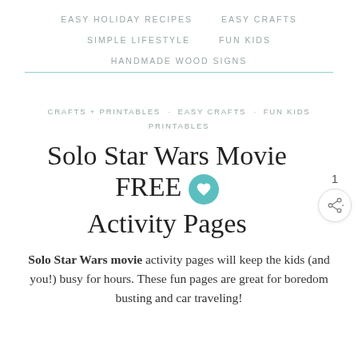EASY HOLIDAY RECIPES   EASY CRAFTS   SIMPLE LIFESTYLE   FUN KIDS   HANDMADE WOOD SIGNS
CRAFTS + PRINTABLES   EASY CRAFTS   FUN KIDS   PRINTABLES
Solo Star Wars Movie FREE Activity Pages
Solo Star Wars movie activity pages will keep the kids (and you!) busy for hours. These fun pages are great for boredom busting and car traveling!